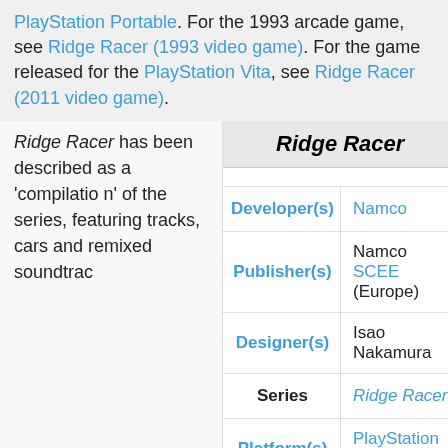PlayStation Portable. For the 1993 arcade game, see Ridge Racer (1993 video game). For the game released for the PlayStation Vita, see Ridge Racer (2011 video game).
Ridge Racer has been described as a 'compilation' of the series, featuring tracks, cars and remixed soundtrac
|  | Ridge Racer |  |
| --- | --- | --- |
| Developer(s) | Namco |  |
| Publisher(s) | Namco
SCEE (Europe) |  |
| Designer(s) | Isao Nakamura |  |
| Series | Ridge Racer |  |
| Platform(s) | PlayStation Portable |  |
| Release | • JP: 12 December 2004 |  |